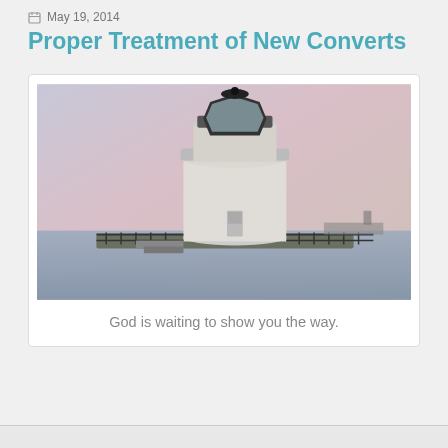May 19, 2014
Proper Treatment of New Converts
[Figure (photo): A white lighthouse with a dark top and lantern room, situated on a pier over water, photographed at dusk with a pink and purple sky in the background.]
God is waiting to show you the way.